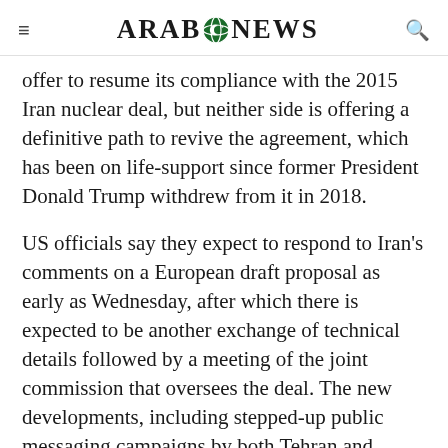ARAB NEWS
offer to resume its compliance with the 2015 Iran nuclear deal, but neither side is offering a definitive path to revive the agreement, which has been on life-support since former President Donald Trump withdrew from it in 2018.
US officials say they expect to respond to Iran's comments on a European draft proposal as early as Wednesday, after which there is expected to be another exchange of technical details followed by a meeting of the joint commission that oversees the deal. The new developments, including stepped-up public messaging campaigns by both Tehran and Washington, suggest that an agreement could be near.